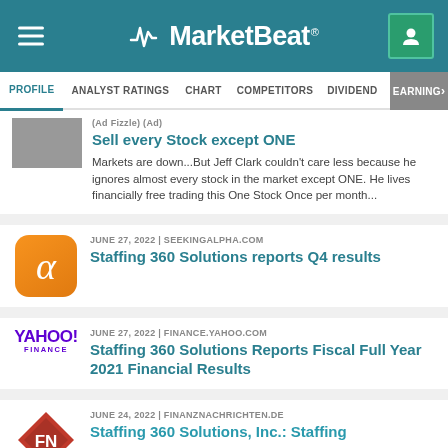MarketBeat
PROFILE | ANALYST RATINGS | CHART | COMPETITORS | DIVIDEND | EARNINGS
(Ad) Sell every Stock except ONE — Markets are down...But Jeff Clark couldn't care less because he ignores almost every stock in the market except ONE. He lives financially free trading this One Stock Once per month...
JUNE 27, 2022 | SEEKINGALPHA.COM — Staffing 360 Solutions reports Q4 results
JUNE 27, 2022 | FINANCE.YAHOO.COM — Staffing 360 Solutions Reports Fiscal Full Year 2021 Financial Results
JUNE 24, 2022 | FINANZNACHRICHTEN.DE — Staffing 360 Solutions, Inc.: Staffing